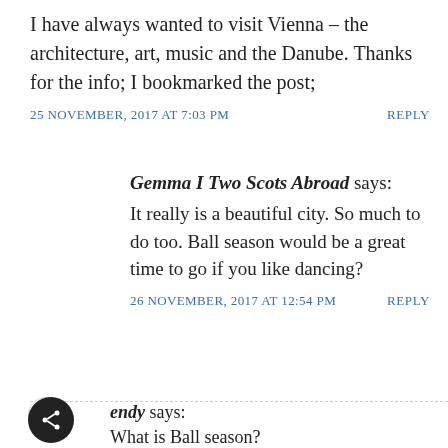I have always wanted to visit Vienna – the architecture, art, music and the Danube. Thanks for the info; I bookmarked the post;
25 NOVEMBER, 2017 AT 7:03 PM    REPLY
Gemma I Two Scots Abroad says: It really is a beautiful city. So much to do too. Ball season would be a great time to go if you like dancing?
26 NOVEMBER, 2017 AT 12:54 PM    REPLY
endy says: What is Ball season?